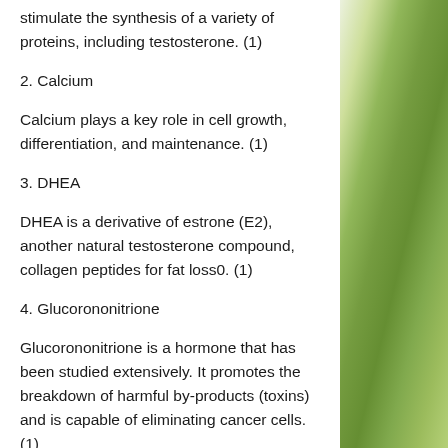stimulate the synthesis of a variety of proteins, including testosterone. (1)
2. Calcium
Calcium plays a key role in cell growth, differentiation, and maintenance. (1)
3. DHEA
DHEA is a derivative of estrone (E2), another natural testosterone compound, collagen peptides for fat loss0. (1)
4. Glucorononitrione
Glucorononitrione is a hormone that has been studied extensively. It promotes the breakdown of harmful by-products (toxins) and is capable of eliminating cancer cells. (1)
5. collagen peptides for fat loss & Glucorononitrione